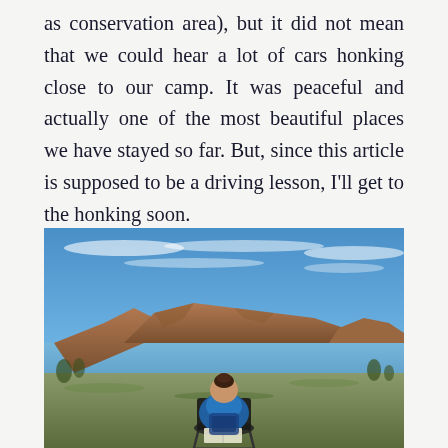as conservation area), but it did not mean that we could hear a lot of cars honking close to our camp. It was peaceful and actually one of the most beautiful places we have stayed so far. But, since this article is supposed to be a driving lesson, I'll get to the honking soon.
[Figure (photo): A person sitting in a camp chair from behind, facing a dramatic rocky mountain landscape with a blue sky and calm water or lake in the foreground. The person has dark hair in a bun and is wearing a blue jacket, holding what appears to be a book or map.]